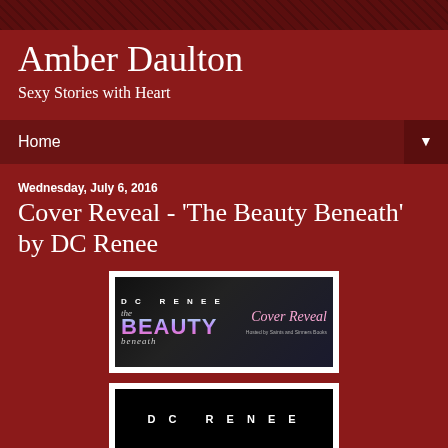Amber Daulton — Sexy Stories with Heart
Amber Daulton
Sexy Stories with Heart
Home
Wednesday, July 6, 2016
Cover Reveal - 'The Beauty Beneath' by DC Renee
[Figure (illustration): Banner image for 'The Beauty Beneath' Cover Reveal by DC Renee. Shows the book title in colorful text on dark background with Cover Reveal text in pink cursive, hosted by Saints and Sinners Books.]
[Figure (illustration): Partial book cover for 'The Beauty Beneath' by DC Renee, showing the author name DC RENEE in white letters on black background.]